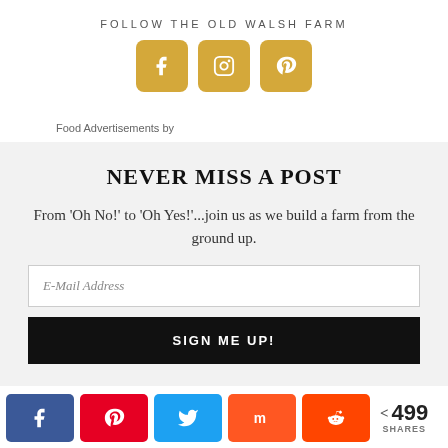FOLLOW THE OLD WALSH FARM
[Figure (illustration): Three social media icon buttons (Facebook, Instagram, Pinterest) in golden/yellow color]
Food Advertisements by
NEVER MISS A POST
From 'Oh No!' to 'Oh Yes!'...join us as we build a farm from the ground up.
E-Mail Address
SIGN ME UP!
[Figure (illustration): Social share buttons bar: Facebook (blue), Pinterest (red), Twitter (light blue), Mix (orange), Reddit (orange-red), and share count showing 499 SHARES]